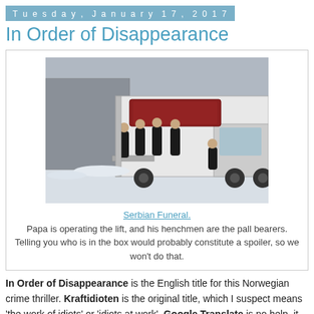Tuesday, January 17, 2017
In Order of Disappearance
[Figure (photo): Scene from the film showing men in dark coats carrying a coffin into the back of a large white truck, in a snowy setting.]
Serbian Funeral.
Papa is operating the lift, and his henchmen are the pall bearers. Telling you who is in the box would probably constitute a spoiler, so we won't do that.
In Order of Disappearance is the English title for this Norwegian crime thriller. Kraftidioten is the original title, which I suspect means 'the work of idiots' or 'idiots at work'. Google Translate is no help, it gives us some kind of nonsense, or else the English title of the movie.
IMDB tags it a 'black comedy', and it does have funny bits...